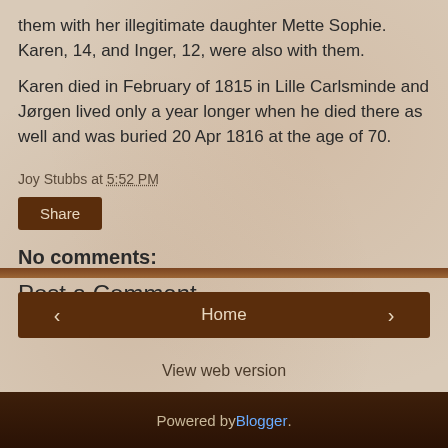them with her illegitimate daughter Mette Sophie. Karen, 14, and Inger, 12, were also with them.
Karen died in February of 1815 in Lille Carlsminde and Jørgen lived only a year longer when he died there as well and was buried 20 Apr 1816 at the age of 70.
Joy Stubbs at 5:52 PM
Share
No comments:
Post a Comment
Home
View web version
Powered by Blogger.